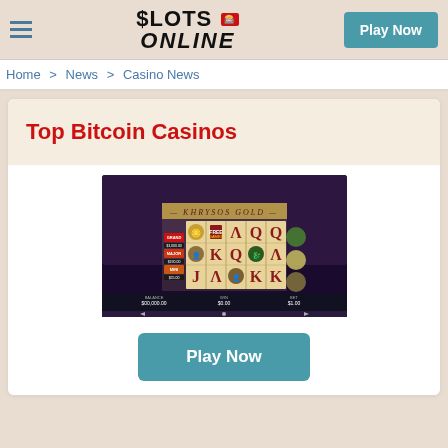$LOTS ONLINE | Play Now
Home > News > Casino News
Top Bitcoin Casinos
[Figure (screenshot): Khrysos Gold slot machine game screenshot on mobile device, showing Greek-themed slot reels with symbols including Lambda, Q, K, J letters and character portraits, with jackpot amounts GRAND $3,000.00, MAJOR $190.00, MINI $25.00 shown on left side, and balance $00,000.00, BET $0.00, BET $1.00 at bottom.]
Play Now